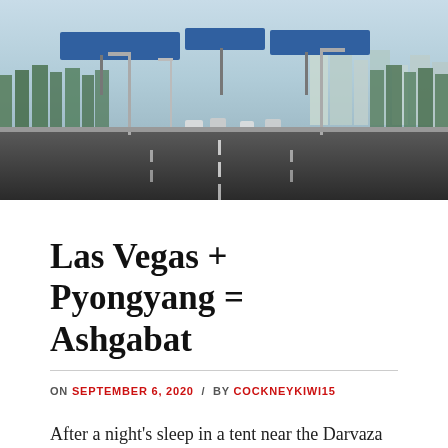[Figure (photo): Wide road with sparse traffic heading toward a city skyline in what appears to be Ashgabat, Turkmenistan. Road signs visible overhead, trees and modern buildings in background.]
Las Vegas + Pyongyang = Ashgabat
ON SEPTEMBER 6, 2020 / BY COCKNEYKIWI15
After a night's sleep in a tent near the Darvaza Gas Crater, I got up early to watch the sunrise, with the company of the lovely Alabai dog who had just come